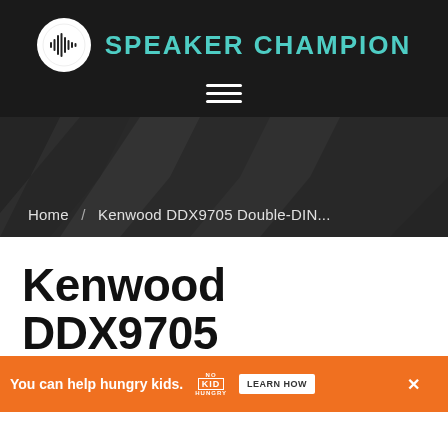[Figure (logo): Speaker Champion website logo with circular audio waveform icon and teal text 'SPEAKER CHAMPION']
Home / Kenwood DDX9705 Double-DIN...
Kenwood DDX9705 Double-DIN DVD
[Figure (other): Advertisement banner: orange background with text 'You can help hungry kids.' No Kid Hungry logo, and 'LEARN HOW' button]